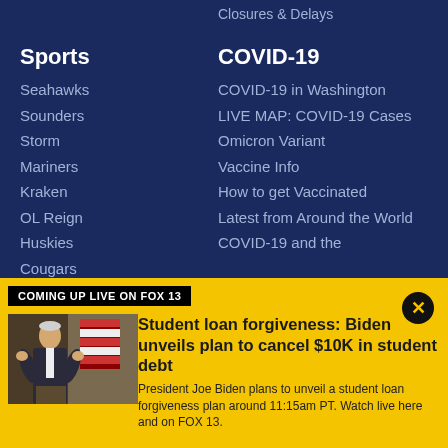Closures & Delays
Sports
Seahawks
Sounders
Storm
Mariners
Kraken
OL Reign
Huskies
Cougars
COVID-19
COVID-19 in Washington
LIVE MAP: COVID-19 Cases
Omicron Variant
Vaccine Info
How to get Vaccinated
Latest from Around the World
COVID-19 and the
COMING UP LIVE ON FOX 13
[Figure (photo): President Joe Biden speaking at a podium with American flags in the background]
Student loan forgiveness: Biden unveils plan to cancel $10K in student debt
President Joe Biden plans to unveil a student loan forgiveness plan around 11:15am PT. Watch live here and on FOX 13.